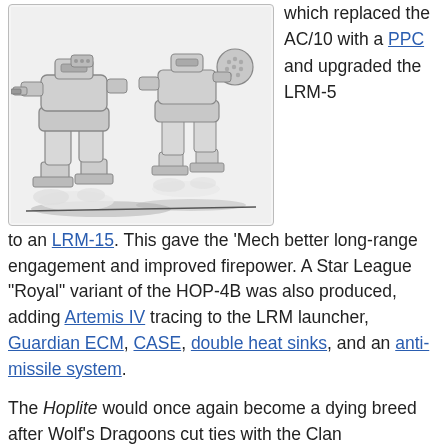[Figure (illustration): Pencil sketch illustration of a Hoplite BattleMech robot, showing two views of the large bipedal mechanical walker with heavy armored legs, clawed feet, and weapon systems mounted on the shoulders and arms. The mech is depicted in a walking/combat pose with exhaust or dust clouds at the feet.]
which replaced the AC/10 with a PPC and upgraded the LRM-5 to an LRM-15. This gave the 'Mech better long-range engagement and improved firepower. A Star League "Royal" variant of the HOP-4B was also produced, adding Artemis IV tracing to the LRM launcher, Guardian ECM, CASE, double heat sinks, and an anti-missile system.
The Hoplite would once again become a dying breed after Wolf's Dragoons cut ties with the Clan Homeworlds in 3020. By the Jihad era, the Hoplite was again facing extinction, both due to a lack of factories creating replacement parts and due to the fact the Hoplite had long been outclassed by more contemporary designs. Even during the Star